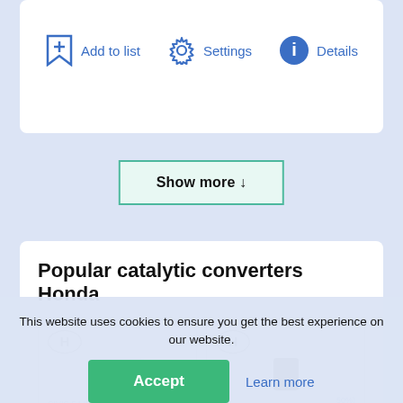[Figure (screenshot): UI toolbar with Add to list (bookmark+), Settings (gear), and Details (info circle) icons in blue]
[Figure (screenshot): Show more button with downward arrow, teal/green border on light green background]
Popular catalytic converters Honda
[Figure (screenshot): Two Honda product cards with Honda logos and partial product images; text reads CIVIC 5 LINE and 50%]
This website uses cookies to ensure you get the best experience on our website.
[Figure (screenshot): Cookie consent banner with Accept button (green) and Learn more link (blue)]